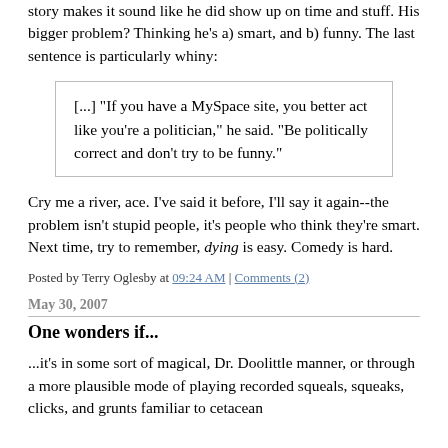story makes it sound like he did show up on time and stuff. His bigger problem? Thinking he's a) smart, and b) funny. The last sentence is particularly whiny:
[...] "If you have a MySpace site, you better act like you're a politician," he said. "Be politically correct and don't try to be funny."
Cry me a river, ace. I've said it before, I'll say it again--the problem isn't stupid people, it's people who think they're smart. Next time, try to remember, dying is easy. Comedy is hard.
Posted by Terry Oglesby at 09:24 AM | Comments (2)
May 30, 2007
One wonders if...
...it's in some sort of magical, Dr. Doolittle manner, or through a more plausible mode of playing recorded squeals, squeaks, clicks, and grunts familiar to cetacean